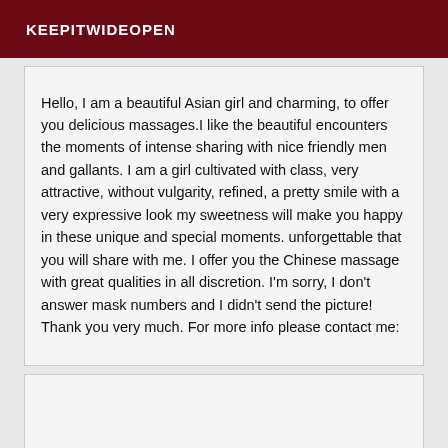KEEPITWIDEOPEN
Hello, I am a beautiful Asian girl and charming, to offer you delicious massages.I like the beautiful encounters the moments of intense sharing with nice friendly men and gallants. I am a girl cultivated with class, very attractive, without vulgarity, refined, a pretty smile with a very expressive look my sweetness will make you happy in these unique and special moments. unforgettable that you will share with me. I offer you the Chinese massage with great qualities in all discretion. I'm sorry, I don't answer mask numbers and I didn't send the picture! Thank you very much. For more info please contact me:
[Figure (other): Empty white box below the text content]